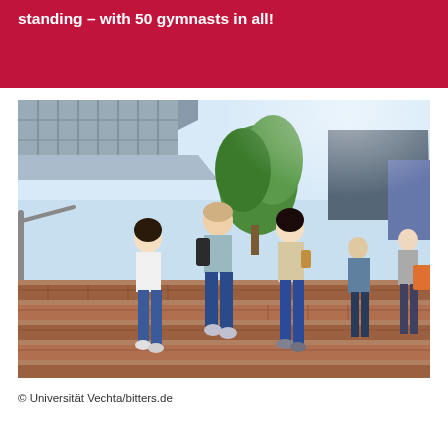standing – with 50 gymnasts in all!
[Figure (photo): Students walking down outdoor brick stairs on a university campus with modern buildings and green trees in the background on a sunny day.]
© Universität Vechta/bitters.de